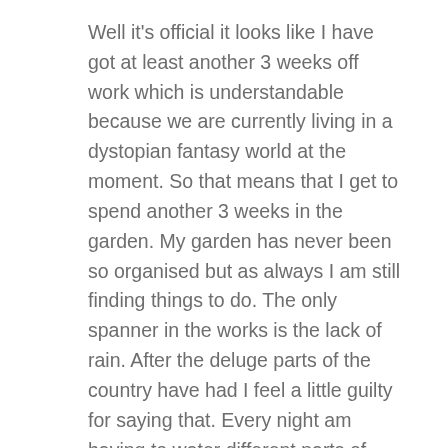Well it's official it looks like I have got at least another 3 weeks off work which is understandable because we are currently living in a dystopian fantasy world at the moment. So that means that I get to spend another 3 weeks in the garden. My garden has never been so organised but as always I am still finding things to do. The only spanner in the works is the lack of rain. After the deluge parts of the country have had I feel a little guilty for saying that. Every night am having to water different parts of Eve garden. It must be at least a good 6 weeks since we have had any meaningful rain up here.
Here is my six.
1. Tulip Ronaldo